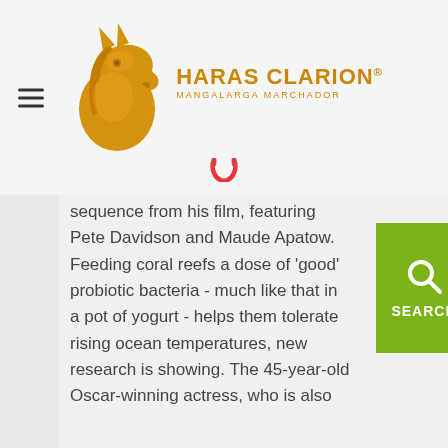[Figure (logo): Haras Clarion logo with golden horse head, text 'HARAS CLARION' and 'MANGALARGA MARCHADOR', horseshoe icon below]
sequence from his film, featuring Pete Davidson and Maude Apatow. Feeding coral reefs a dose of 'good' probiotic bacteria - much like that in a pot of yogurt - helps them tolerate rising ocean temperatures, new research is showing. The 45-year-old Oscar-winning actress, who is also